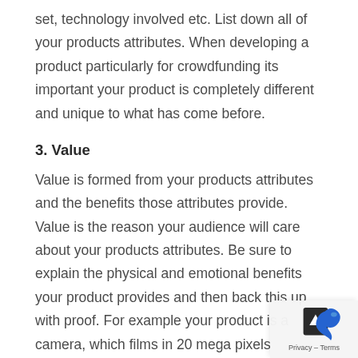set, technology involved etc. List down all of your products attributes. When developing a product particularly for crowdfunding its important your product is completely different and unique to what has come before.
3. Value
Value is formed from your products attributes and the benefits those attributes provide. Value is the reason your audience will care about your products attributes. Be sure to explain the physical and emotional benefits your product provides and then back this up with proof. For example your product is a camera, which films in 20 mega pixels (feature) that provides sharp photo images (benefit). The value is how this relates to the user's goals, i.e. images can be zoomed in or printed in large format and still look
[Figure (screenshot): Small browser overlay UI element in bottom-right corner showing a dark box with an up arrow/caret icon and 'Privacy - Terms' text label, with a blue bird/shape graphic to its right]